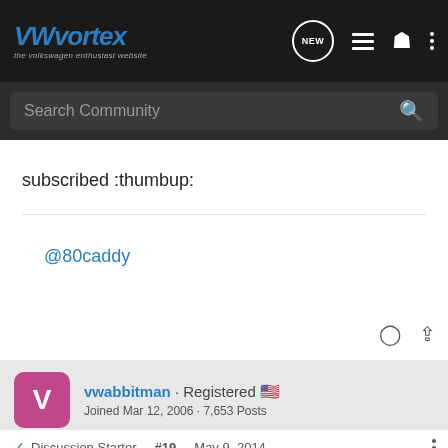VWvortex · the volkswagen enthusiast website
Search Community
subscribed :thumbup:
@80caddy
vwabbitman · Registered
Joined Mar 12, 2006 · 7,653 Posts
Discussion Starter · #19 · May 9, 2014
so since   ar or two off (   hey
[Figure (screenshot): Optima Batteries advertisement banner: FOR OVER 40 YEARS POWER PROVEN TO PERFORM]